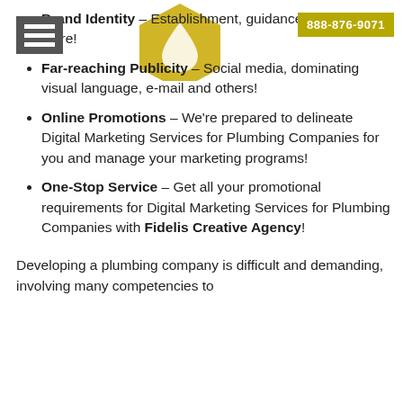Brand Identity – Establishment, guidance, and even more!
Far-reaching Publicity – Social media, dominating visual language, e-mail and others!
Online Promotions – We're prepared to delineate Digital Marketing Services for Plumbing Companies for you and manage your marketing programs!
One-Stop Service – Get all your promotional requirements for Digital Marketing Services for Plumbing Companies with Fidelis Creative Agency!
Developing a plumbing company is difficult and demanding, involving many competencies to